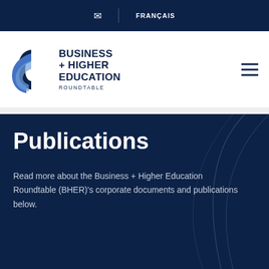✉  |  FRANÇAIS
[Figure (logo): Business + Higher Education Roundtable logo with abstract circular graphic in navy and blue]
Publications
Read more about the Business + Higher Education Roundtable (BHER)'s corporate documents and publications below.